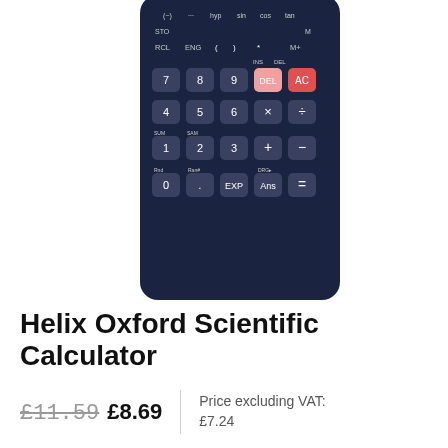[Figure (photo): Helix Oxford Scientific Calculator product photo showing keypad with numeric and function keys on a dark navy body]
Helix Oxford Scientific Calculator
£11.59 £8.69 | Price excluding VAT: £7.24
Oxford scientific calculator suitable for basic and scientific calculations. The two-line display makes it possible to view both the calculation formula and its result at the same time. Features: 240 functions, 2 line large display. Shows 10 digits + 2 digit exponents